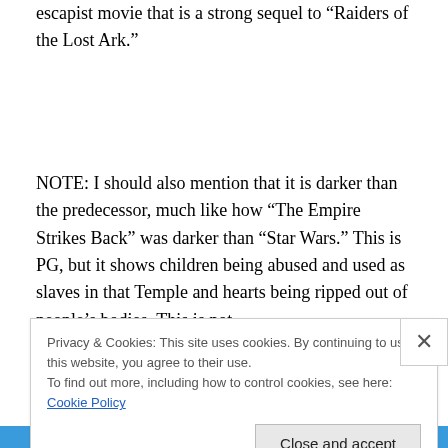escapist movie that is a strong sequel to “Raiders of the Lost Ark.”
NOTE: I should also mention that it is darker than the predecessor, much like how “The Empire Strikes Back” was darker than “Star Wars.” This is PG, but it shows children being abused and used as slaves in that Temple and hearts being ripped out of people’s bodies. This is not
Privacy & Cookies: This site uses cookies. By continuing to use this website, you agree to their use.
To find out more, including how to control cookies, see here: Cookie Policy
Close and accept